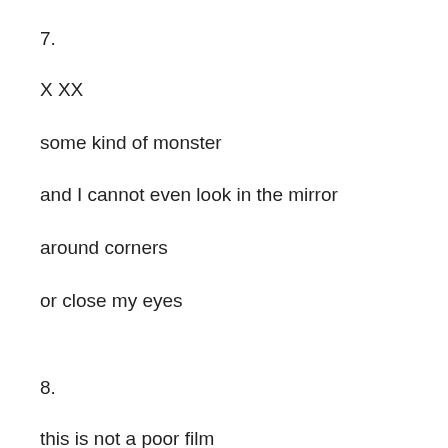7.
X XX
some kind of monster
and I cannot even look in the mirror
around corners
or close my eyes
8.
this is not a poor film
tho we all wish it were